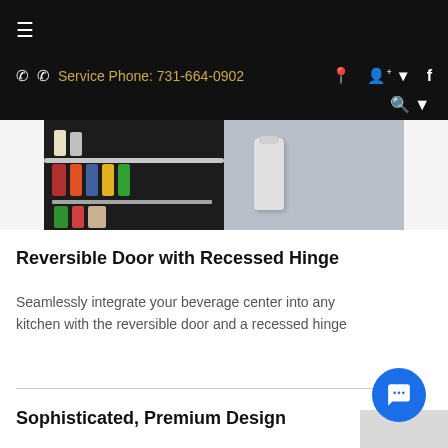Service Phone: 731-664-0902
[Figure (photo): Partial view of a beverage center/refrigerator interior showing shelves with bottles and cans on the left side, and the right side of the unit in gray]
Reversible Door with Recessed Hinge
Seamlessly integrate your beverage center into any kitchen with the reversible door and a recessed hinge
Sophisticated, Premium Design